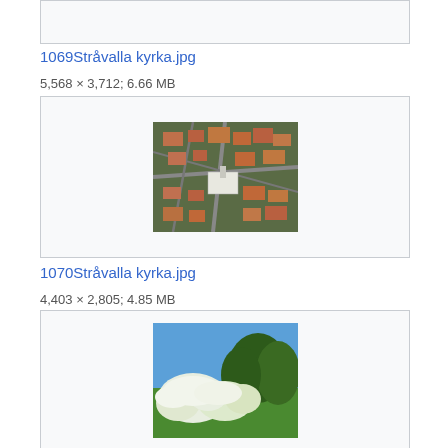[Figure (photo): Partial image box at top, clipped from previous entry]
1069Stråvalla kyrka.jpg
5,568 × 3,712; 6.66 MB
[Figure (photo): Aerial view of a town with red-roofed buildings and intersecting roads, surrounding a white church]
1070Stråvalla kyrka.jpg
4,403 × 2,805; 4.85 MB
[Figure (photo): Garden scene with blooming white flowering shrubs and trees under a blue sky on green grass]